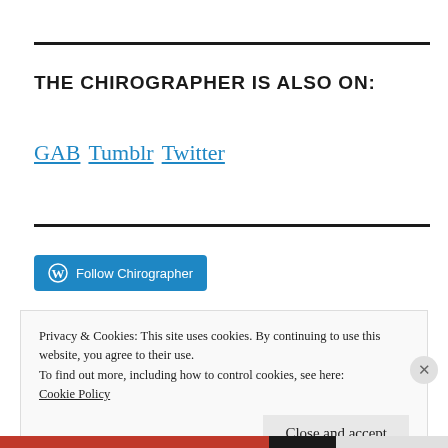THE CHIROGRAPHER IS ALSO ON:
GAB Tumblr Twitter
[Figure (other): Follow Chirographer button with WordPress icon]
Privacy & Cookies: This site uses cookies. By continuing to use this website, you agree to their use.
To find out more, including how to control cookies, see here:
Cookie Policy
Close and accept